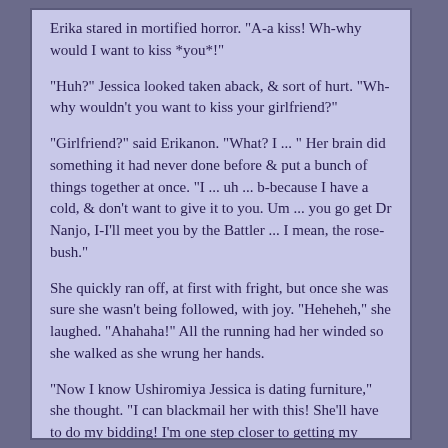Erika stared in mortified horror. "A-a kiss! Wh-why would I want to kiss *you*!"
"Huh?" Jessica looked taken aback, & sort of hurt. "Wh-why wouldn't you want to kiss your girlfriend?"
"Girlfriend?" said Erikanon. "What? I ... " Her brain did something it had never done before & put a bunch of things together at once. "I ... uh ... b-because I have a cold, & don't want to give it to you. Um ... you go get Dr Nanjo, I-I'll meet you by the Battler ... I mean, the rose-bush."
She quickly ran off, at first with fright, but once she was sure she wasn't being followed, with joy. "Heheheh," she laughed. "Ahahaha!" All the running had her winded so she walked as she wrung her hands.
"Now I know Ushiromiya Jessica is dating furniture," she thought. "I can blackmail her with this! She'll have to do my bidding! I'm one step closer to getting my hands on Kinzo's Kompendium, the tome that contains all his magical knowledge! Once I have it I can give it to Master, & she'll love me even more."